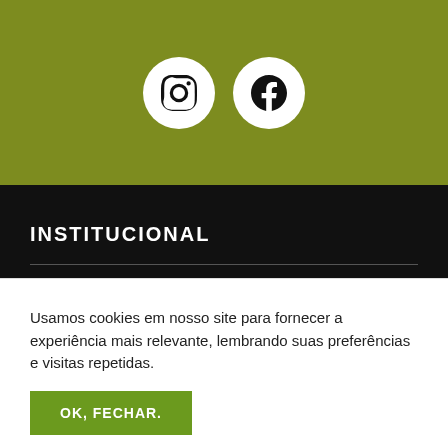[Figure (illustration): Olive/yellow-green header banner with two white circular social media icons: Instagram and Facebook]
INSTITUCIONAL
A EMPRESA
FALE CONOSCO
SEGURANÇA
Usamos cookies em nosso site para fornecer a experiência mais relevante, lembrando suas preferências e visitas repetidas.
OK, FECHAR.